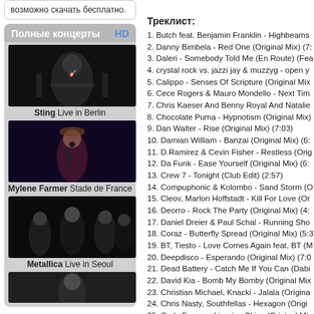возможно скачать бесплатно.
Полные концерты  HD
[Figure (photo): Sting performing live with guitar on stage]
Sting Live in Berlin
[Figure (photo): Mylene Farmer performing on stage at Stade de France]
Mylene Farmer Stade de France
[Figure (photo): Metallica performing live in Seoul]
Metallica Live in Seoul
[Figure (photo): Another concert performer]
Треклист:
1. Butch feat. Benjamin Franklin - Highbeams
2. Danny Bimbela - Red One (Original Mix) (7:
3. Daleri - Somebody Told Me (En Route) (Fea
4. crystal rock vs. jazzi jay & muzzyg - open y
5. Calippo - Senses Of Scripture (Original Mix
6. Cece Rogers & Mauro Mondello - Next Tim
7. Chris Kaeser And Benny Royal And Natalie
8. Chocolate Puma - Hypnotism (Original Mix)
9. Dan Walter - Rise (Original Mix) (7:03)
10. Damian William - Banzai (Original Mix) (6:
11. D.Ramirez & Cevin Fisher - Restless (Orig
12. Da Funk - Ease Yourself (Original Mix) (6:
13. Crew 7 - Tonight (Club Edit) (2:57)
14. Compuphonic & Kolombo - Sand Storm (O
15. Cleov, Marlon Hoffstadt - Kill For Love (Or
16. Deorro - Rock The Party (Original Mix) (4:
17. Daniel Dreier & Paul Schal - Running Sho
18. Coraz - Butterfly Spread (Original Mix) (5:3
19. BT, Tiesto - Love Comes Again feat. BT (M
20. Deepdisco - Esperando (Original Mix) (7:0
21. Dead Battery - Catch Me If You Can (Dabi
22. David Kia - Bomb My Bomby (Original Mix
23. Christian Michael, Knacki - Jalala (Origina
24. Chris Nasty, Southfellas - Hexagon (Origi
25. Carlo Frasca - Ligurian Skies (Original Mix